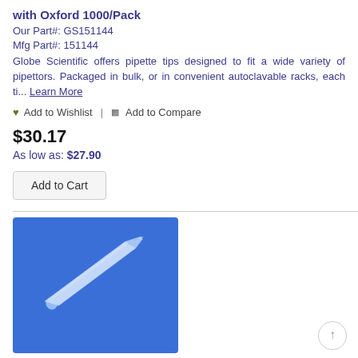with Oxford 1000/Pack
Our Part#: GS151144
Mfg Part#: 151144
Globe Scientific offers pipette tips designed to fit a wide variety of pipettors. Packaged in bulk, or in convenient autoclavable racks, each ti... Learn More
♥ Add to Wishlist | ▣ Add to Compare
$30.17
As low as: $27.90
Add to Cart
[Figure (photo): Pipette tip on a blue background, showing a long clear plastic tapered pipette tip lying diagonally.]